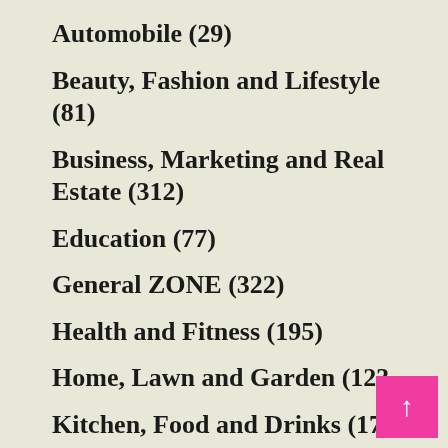Automobile (29)
Beauty, Fashion and Lifestyle (81)
Business, Marketing and Real Estate (312)
Education (77)
General ZONE (322)
Health and Fitness (195)
Home, Lawn and Garden (123)
Kitchen, Food and Drinks (17)